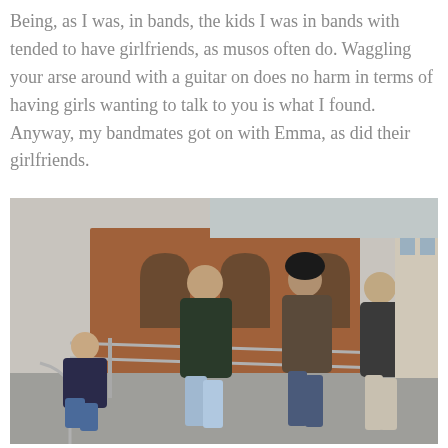Being, as I was, in bands, the kids I was in bands with tended to have girlfriends, as musos often do. Waggling your arse around with a guitar on does no harm in terms of having girls wanting to talk to you is what I found. Anyway, my bandmates got on with Emma, as did their girlfriends.
[Figure (photo): A black and white/desaturated photograph of four young men posing outdoors near metal railings, with a red brick building featuring arched windows in the background. One man is seated on the left, three are standing. Urban setting, possibly a canal or street area.]